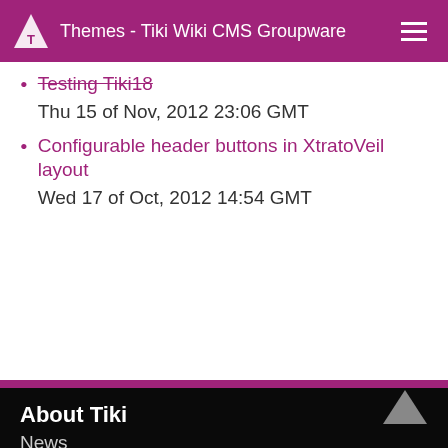Themes - Tiki Wiki CMS Groupware
Testing Tiki18
Thu 15 of Nov, 2012 23:06 GMT
Configurable header buttons in XtratoVeil layout
Wed 17 of Oct, 2012 14:54 GMT
About Tiki
News
Download
Demo
Features
Tiki Association
Contact Tiki
Donate to Tiki
Support
Forums
Documentation